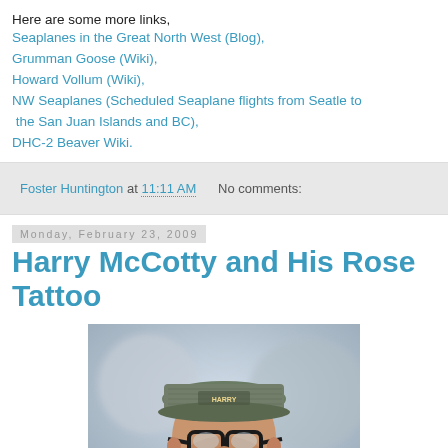Here are some more links,
Seaplanes in the Great North West (Blog),
Grumman Goose (Wiki),
Howard Vollum (Wiki),
NW Seaplanes (Scheduled Seaplane flights from Seatle to the San Juan Islands and BC),
DHC-2 Beaver Wiki.
Foster Huntington at 11:11 AM    No comments:
Monday, February 23, 2009
Harry McCotty and His Rose Tattoo
[Figure (photo): Portrait photo of a man wearing a patterned flat cap with a logo, thick dark-rimmed glasses, and a jacket. The background is blurred and light. The subject has a beard.]